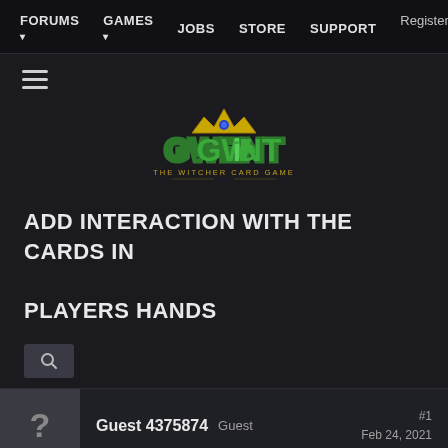FORUMS  GAMES  JOBS  STORE  SUPPORT  Register  Log in
[Figure (logo): GWENT The Witcher Card Game logo with golden crown and green stylized text]
ADD INTERACTION WITH THE CARDS IN PLAYERS HANDS
Guest 4375874  Guest  #1  Feb 24, 2021